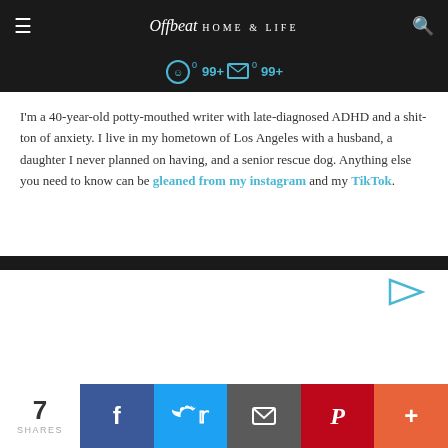Offbeat HOME & LIFE
[Figure (screenshot): Share count icons showing 0 and 99+ for two social actions]
I'm a 40-year-old potty-mouthed writer with late-diagnosed ADHD and a shit-ton of anxiety. I live in my hometown of Los Angeles with a husband, a daughter I never planned on having, and a senior rescue dog. Anything else you need to know can be gleaned from my instagram and my TikTok.
[Figure (screenshot): Advertisement area with play/ad indicator arrow icon in top right corner]
7 SHARES | Facebook | Twitter | Email | Pinterest | More